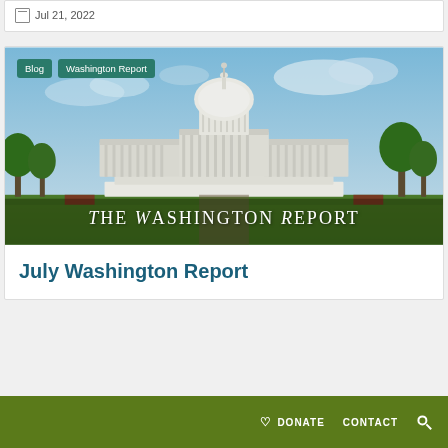Jul 21, 2022
[Figure (photo): The Washington Report - photo of the US Capitol building with blog and Washington Report category tags overlay]
July Washington Report
DONATE   CONTACT   🔍